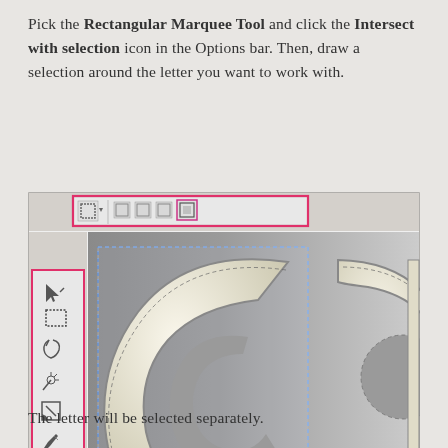Pick the Rectangular Marquee Tool and click the Intersect with selection icon in the Options bar. Then, draw a selection around the letter you want to work with.
[Figure (screenshot): Photoshop screenshot showing the Options bar with Rectangular Marquee Tool selected and Intersect with Selection icon highlighted in pink/magenta. A tools panel on the left is also highlighted. The canvas shows large 3D-style letters 'co' (partial) with a fabric/stitched texture on a grey background, with a dashed selection rectangle visible.]
The letter will be selected separately.